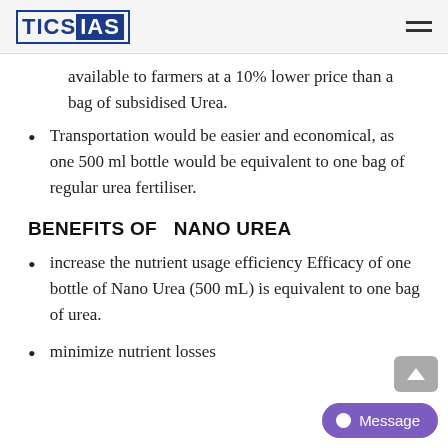TICS IAS
available to farmers at a 10% lower price than a bag of subsidised Urea.
Transportation would be easier and economical, as one 500 ml bottle would be equivalent to one bag of regular urea fertiliser.
BENEFITS OF  NANO UREA
increase the nutrient usage efficiency Efficacy of one bottle of Nano Urea (500 mL) is equivalent to one bag of urea.
minimize nutrient losses